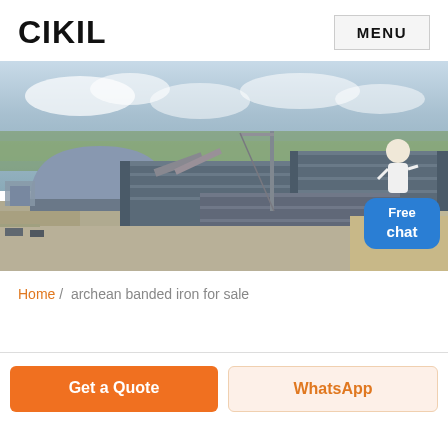CIKIL
MENU
[Figure (photo): Aerial/drone photograph of a large industrial facility with multiple warehouse and factory buildings with blue metal roofs, a large dome-shaped storage structure, industrial equipment, and surrounding landscape with greenery in the background. A customer service representative icon in the top-right corner with a 'Free chat' blue rounded button overlay.]
Home / archean banded iron for sale
Get a Quote
WhatsApp